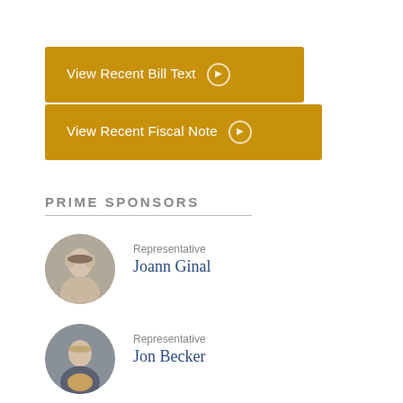[Figure (other): Gold button labeled 'View Recent Bill Text' with a circle arrow icon]
[Figure (other): Gold button labeled 'View Recent Fiscal Note' with a circle arrow icon]
PRIME SPONSORS
[Figure (photo): Circular headshot photo of Representative Joann Ginal, an older woman with short gray hair]
Representative
Joann Ginal
[Figure (photo): Circular headshot photo of Representative Jon Becker, a middle-aged man in a suit]
Representative
Jon Becker